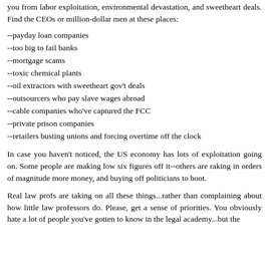you from labor exploitation, environmental devastation, and sweetheart deals. Find the CEOs or million-dollar men at these places:
--payday loan companies
--too big to fail banks
--mortgage scams
--toxic chemical plants
--oil extractors with sweetheart gov't deals
--outsourcers who pay slave wages abroad
--cable companies who've captured the FCC
--private prison companies
--retailers busting unions and forcing overtime off the clock
In case you haven't noticed, the US economy has lots of exploitation going on. Some people are making low six figures off it--others are raking in orders of magnitude more money, and buying off politicians to boot.
Real law profs are taking on all these things...rather than complaining about how little law professors do. Please, get a sense of priorities. You obviously hate a lot of people you've gotten to know in the legal academy...but the